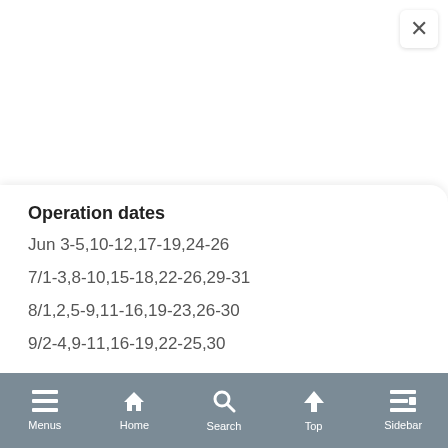Operation dates
Jun 3-5,10-12,17-19,24-26
7/1-3,8-10,15-18,22-26,29-31
8/1,2,5-9,11-16,19-23,26-30
9/2-4,9-11,16-19,22-25,30
Timetable
|  | Kanazawa | Wakura Onsen |
| --- | --- | --- |
Menus  Home  Search  Top  Sidebar